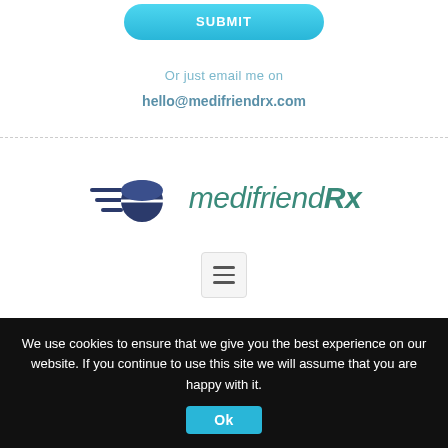[Figure (other): A teal/cyan gradient rounded rectangle SUBMIT button]
Or just email me on
hello@medifriendrx.com
[Figure (logo): medifriendRx logo with a dark blue pill capsule icon with speed lines and the text medifriendrx in teal italic]
[Figure (other): Hamburger menu icon button (three horizontal lines) in a light grey square button]
We use cookies to ensure that we give you the best experience on our website. If you continue to use this site we will assume that you are happy with it.
[Figure (other): Ok button in blue/cyan color]